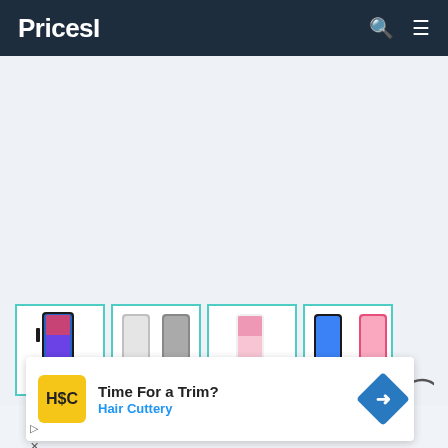PricesI
[Figure (photo): Strip of four iPhone 8 models in different colors (space gray, silver, silver front, red/pink) displayed in framed cells with teal borders]
[Figure (infographic): Advertisement overlay: Hair Cuttery 'Time For a Trim?' ad with yellow HC logo, blue navigation arrow icon, play and close icons at bottom-left]